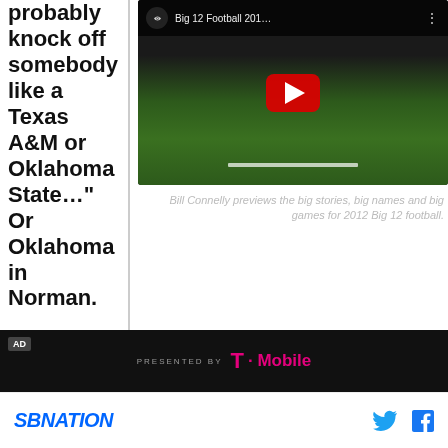probably knock off somebody like a Texas A&M or Oklahoma State…" Or Oklahoma in Norman.
[Figure (screenshot): YouTube video thumbnail showing 'Big 12 Football 201...' with a football field background and red play button]
Bill Connelly previews the big stories, big names and big games for 2012 Big 12 football.
[Figure (infographic): Advertisement banner: 'AD' label, 'PRESENTED BY' text, T-Mobile logo in magenta on black background]
SBNation [Twitter icon] [Facebook icon]